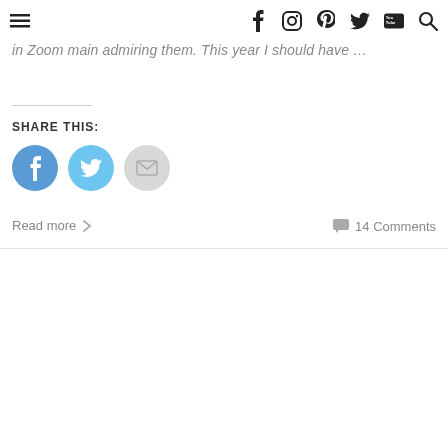Navigation bar with menu, facebook, instagram, pinterest, twitter, youtube, search icons
in Zoom main admiring them. This year I should have …
SHARE THIS:
[Figure (other): Social share buttons: Facebook (blue circle), Twitter (light blue circle), Email (grey circle)]
Read more ›
14 Comments